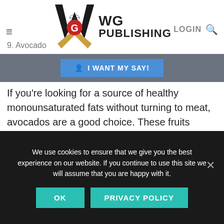WG PUBLISHING
9. Avocado
I WANT MY SAY!
If you're looking for a source of healthy monounsaturated fats without turning to meat, avocados are a good choice. These fruits contain a lot of nutrients, fiber and vitamins. It also contains Oleic acid which has often been linked to reducing inflammation.
We use cookies to ensure that we give you the best experience on our website. If you continue to use this site we will assume that you are happy with it.
OK
PRIVACY POLICY